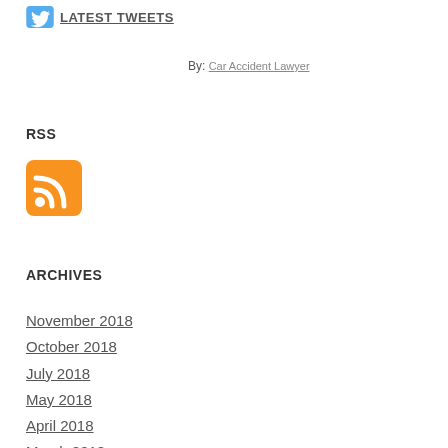LATEST TWEETS
By: Car Accident Lawyer
RSS
[Figure (logo): Orange RSS feed icon with white WiFi-style signal symbol]
ARCHIVES
November 2018
October 2018
July 2018
May 2018
April 2018
March 2018